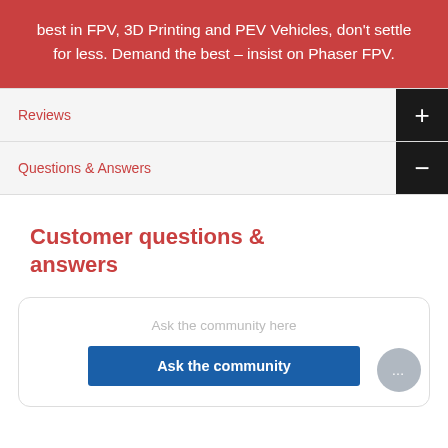best in FPV, 3D Printing and PEV Vehicles, don't settle for less. Demand the best – insist on Phaser FPV.
Reviews
Questions & Answers
Customer questions & answers
Ask the community here
Ask the community